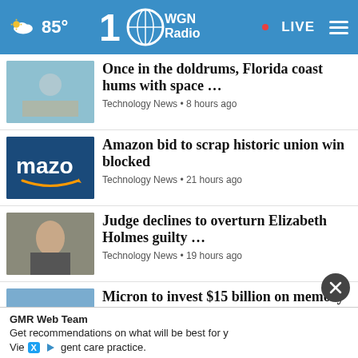85° WGN Radio 100 • LIVE
Once in the doldrums, Florida coast hums with space ... | Technology News • 8 hours ago
Amazon bid to scrap historic union win blocked | Technology News • 21 hours ago
Judge declines to overturn Elizabeth Holmes guilty ... | Technology News • 19 hours ago
Micron to invest $15 billion on memory chip plant ... | Technology News • 1 day ago
Twitter testing 'Edit Tweet' feature | News • 1 day ago
GMR Web Team
Get recommendations on what will be best for y
gent care practice.